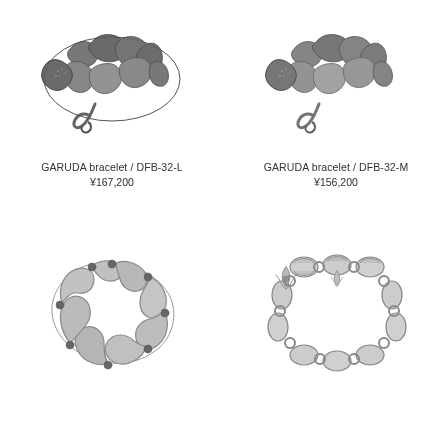[Figure (photo): GARUDA bracelet DFB-32-L, silver metal bracelet with eagle/garuda motif, dark oxidized finish, hook clasp]
GARUDA bracelet / DFB-32-L
¥167,200
[Figure (photo): GARUDA bracelet DFB-32-M, silver metal bracelet with eagle/garuda motif, dark oxidized finish, hook clasp]
GARUDA bracelet / DFB-32-M
¥156,200
[Figure (photo): Silver bracelet with organic bone/wave link design, open oval shape, black oxidized accents]
[Figure (photo): Silver bracelet with fleur-de-lis and chain link design, polished silver finish]